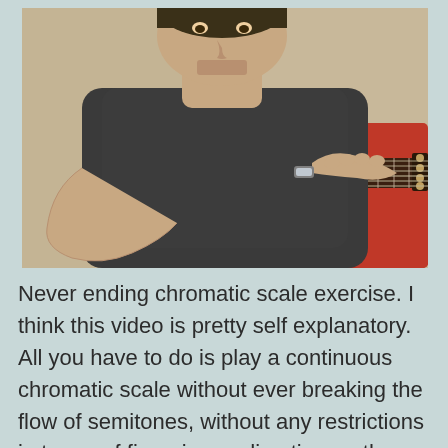[Figure (photo): A man in a dark grey t-shirt playing a green electric guitar (Stratocaster-style with white pickguard), seated, with the guitar neck visible extending to the right. Background shows a beige wall and a red cushion/pillow on the right side.]
Never ending chromatic scale exercise. I think this video is pretty self explanatory. All you have to do is play a continuous chromatic scale without ever breaking the flow of semitones, without any restrictions in terms of fingering or direction on the fretboard. This means you are free to move up, down